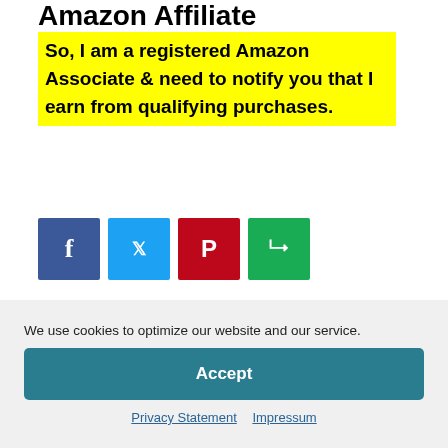Amazon Affiliate
So, I am a registered Amazon Associate & need to notify you that I earn from qualifying purchases.
[Figure (other): Four social sharing icon buttons: Facebook (dark blue), Twitter (light blue), Pinterest (red), and a green share button]
Recent Posts
We use cookies to optimize our website and our service.
Accept
Privacy Statement   Impressum